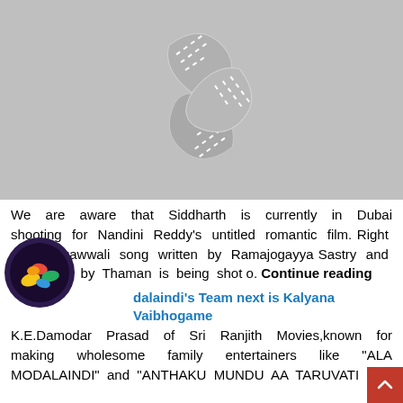[Figure (illustration): Gray placeholder image with film reel / filmstrip graphic icon in the center]
We are aware that Siddharth is currently in Dubai shooting for Nandini Reddy's untitled romantic film. Right now a qawwali song written by Ramajogayya Sastry and composed by Thaman is being shot o. Continue reading
Modalaindi's Team next is Kalyana Vaibhogame
K.E.Damodar Prasad of Sri Ranjith Movies,known for making wholesome family entertainers like "ALA MODALAINDI" and "ANTHAKU MUNDU AA TARUVATI